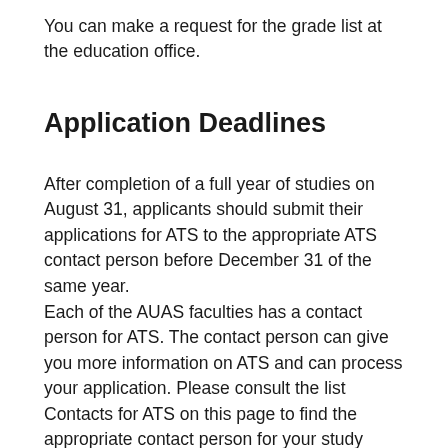You can make a request for the grade list at the education office.
Application Deadlines
After completion of a full year of studies on August 31, applicants should submit their applications for ATS to the appropriate ATS contact person before December 31 of the same year.
Each of the AUAS faculties has a contact person for ATS. The contact person can give you more information on ATS and can process your application. Please consult the list Contacts for ATS on this page to find the appropriate contact person for your study programme at the Amsterdam University of Applied Sciences